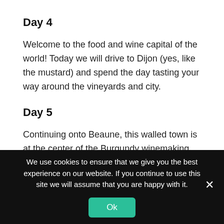Day 4
Welcome to the food and wine capital of the world! Today we will drive to Dijon (yes, like the mustard) and spend the day tasting your way around the vineyards and city.
Day 5
Continuing onto Beaune, this walled town is at the center of the Burgundy winemaking region. Here you will visit the Chateau du Clos de Vourgeot as well as the Burgundy Wine Museum. Continue to learn the smells and history of wine at La Caves Aux Aromes.
We use cookies to ensure that we give you the best experience on our website. If you continue to use this site we will assume that you are happy with it.